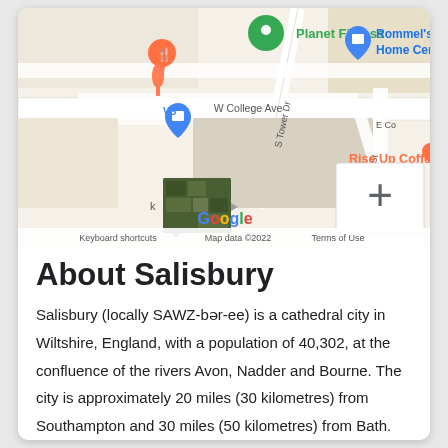[Figure (screenshot): Google Maps screenshot showing area near W College Ave and S Tower Dr, with markers for Planet Fitness (green), Rommel's Ace Home Center (blue), Rise Up Coffee (orange), and other businesses. Includes zoom controls (+/-) and Google branding with 'Keyboard shortcuts', 'Map data ©2022', 'Terms of Use' footer.]
About Salisbury
Salisbury (locally SAWZ-bər-ee) is a cathedral city in Wiltshire, England, with a population of 40,302, at the confluence of the rivers Avon, Nadder and Bourne. The city is approximately 20 miles (30 kilometres) from Southampton and 30 miles (50 kilometres) from Bath.